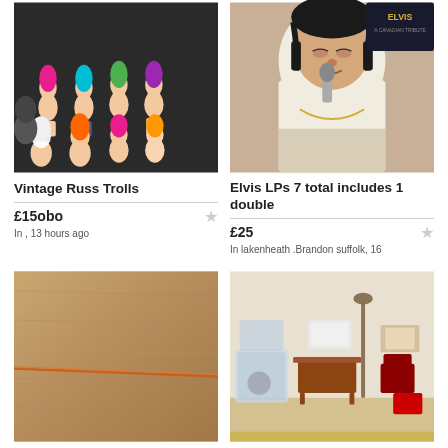[Figure (photo): Collection of vintage Russ troll dolls with colorful hair arranged on dark background]
Vintage Russ Trolls
£15obo
In , 13 hours ago
[Figure (photo): Elvis Presley performing, wearing white bejeweled jumpsuit, holding microphone, with Elvis Canadian Tribute LP cover visible]
Elvis LPs 7 total includes 1 double
£25
In lakenheath .Brandon suffolk, 16
[Figure (photo): Close-up of old copper or brass material with a thin orange line/stripe visible]
OLD COPPER/BRASS
[Figure (photo): Collection of dolls house miniature items including furniture, table, small accessories in bags and boxes]
DOLLS HOUSE ITEMS